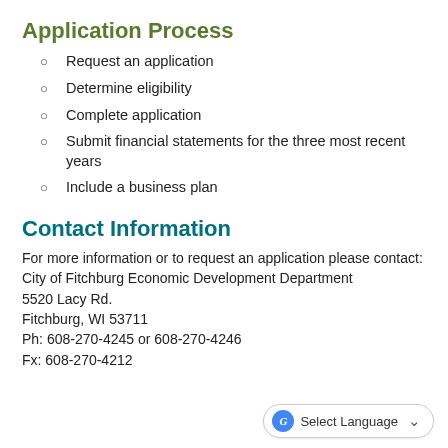Application Process
Request an application
Determine eligibility
Complete application
Submit financial statements for the three most recent years
Include a business plan
Contact Information
For more information or to request an application please contact:
City of Fitchburg Economic Development Department
5520 Lacy Rd.
Fitchburg, WI 53711
Ph: 608-270-4245 or 608-270-4246
Fx: 608-270-4212